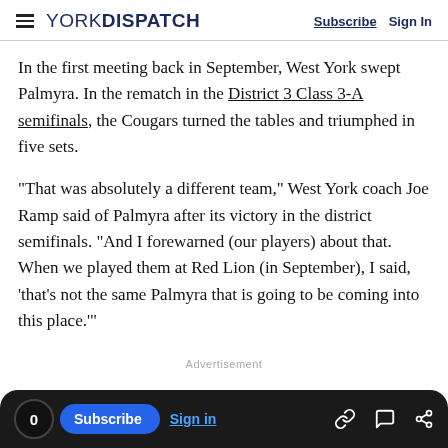YORK DISPATCH | Subscribe  Sign In
In the first meeting back in September, West York swept Palmyra. In the rematch in the District 3 Class 3-A semifinals, the Cougars turned the tables and triumphed in five sets.
“That was absolutely a different team,” West York coach Joe Ramp said of Palmyra after its victory in the district semifinals. “And I forewarned (our players) about that. When we played them at Red Lion (in September), I said, ‘that’s not the same Palmyra that is going to be coming into this place.’”
Advertisement
0  Subscribe  Sign in